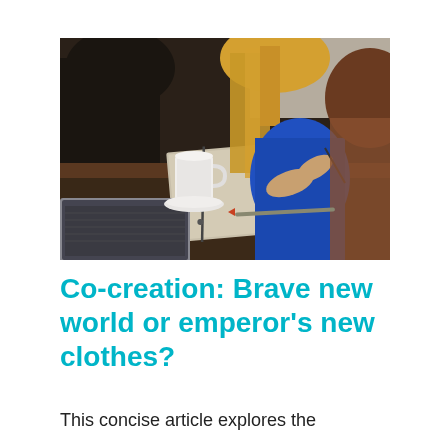[Figure (photo): People sitting around a table in a meeting/workshop setting. A woman with long blonde hair is writing in a spiral notebook. A laptop is visible in the foreground bottom-left. A white coffee mug and saucer are on the table. Other people are partially visible.]
Co-creation: Brave new world or emperor's new clothes?
This concise article explores the